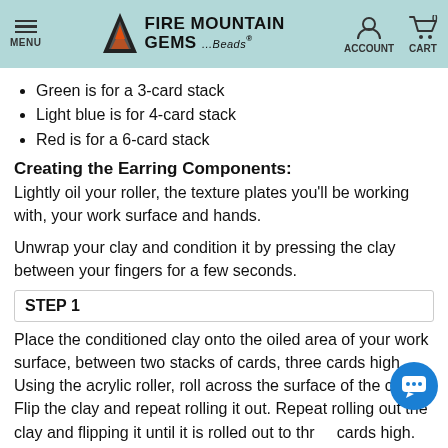Fire Mountain Gems and Beads — MENU | ACCOUNT | CART 0
Green is for a 3-card stack
Light blue is for 4-card stack
Red is for a 6-card stack
Creating the Earring Components:
Lightly oil your roller, the texture plates you'll be working with, your work surface and hands.
Unwrap your clay and condition it by pressing the clay between your fingers for a few seconds.
STEP 1
Place the conditioned clay onto the oiled area of your work surface, between two stacks of cards, three cards high. Using the acrylic roller, roll across the surface of the clay. Flip the clay and repeat rolling it out. Repeat rolling out the clay and flipping it until it is rolled out to three cards high.
STEP 2